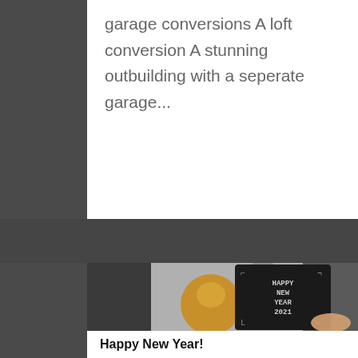garage conversions A loft conversion A stunning outbuilding with a seperate garage...
[Figure (photo): A person holding a black letter board sign displaying 'HAPPY NEW YEAR 2021' with gold and silver balloons in the background]
Happy New Year!